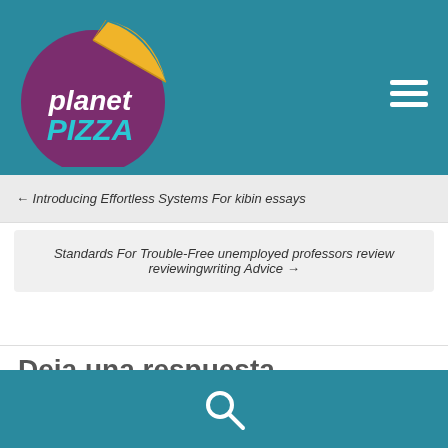[Figure (logo): Planet Pizza logo: purple circle with yellow pizza slice, white italic text 'planet' and teal text 'PIZZA']
← Introducing Effortless Systems For kibin essays
Standards For Trouble-Free unemployed professors review reviewingwriting Advice →
Deja una respuesta
[Figure (illustration): Search magnifying glass icon in white on teal footer bar]